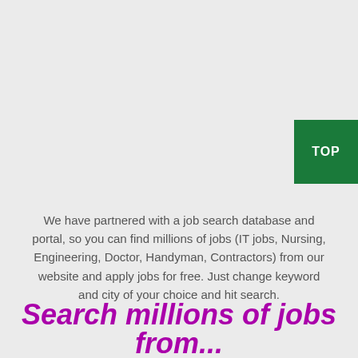We have partnered with a job search database and portal, so you can find millions of jobs (IT jobs, Nursing, Engineering, Doctor, Handyman, Contractors) from our website and apply jobs for free. Just change keyword and city of your choice and hit search.
Search millions of jobs from...